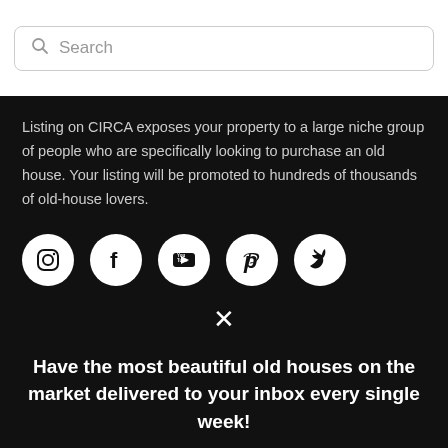[Figure (screenshot): Search bar with magnifying glass icon and placeholder text 'Search']
Listing on CIRCA exposes your property to a large niche group of people who are specifically looking to purchase an old house. Your listing will be promoted to hundreds of thousands of old-house lovers.
[Figure (illustration): Row of 5 social media icons (Instagram, Facebook, YouTube, Pinterest, Twitter) as white circles on dark background]
[Figure (other): X close button symbol in white]
Have the most beautiful old houses on the market delivered to your inbox every single week!
Enter your email below to receive our latest listings, featured favorites and more 🔔!